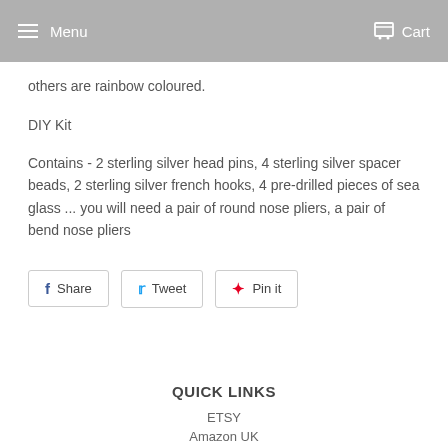Menu  Cart
others are rainbow coloured.
DIY Kit
Contains - 2 sterling silver head pins, 4 sterling silver spacer beads, 2 sterling silver french hooks, 4 pre-drilled pieces of sea glass ... you will need a pair of round nose pliers, a pair of bend nose pliers
[Figure (other): Social share buttons: Share (Facebook), Tweet (Twitter), Pin it (Pinterest)]
QUICK LINKS
ETSY
Amazon UK